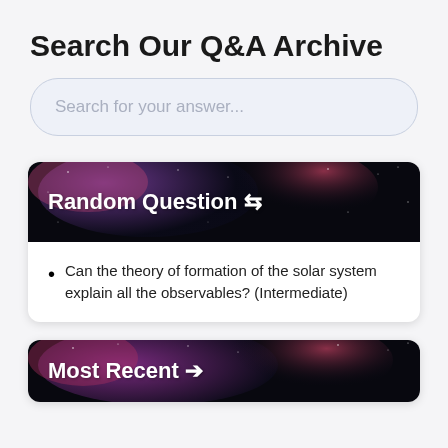Search Our Q&A Archive
Search for your answer...
Random Question ⇌
Can the theory of formation of the solar system explain all the observables? (Intermediate)
Most Recent ➤